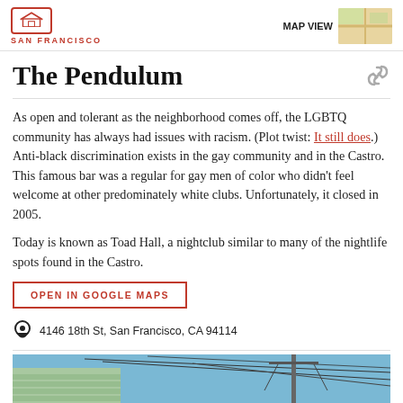CURBED SAN FRANCISCO | MAP VIEW
The Pendulum
As open and tolerant as the neighborhood comes off, the LGBTQ community has always had issues with racism. (Plot twist: It still does.) Anti-black discrimination exists in the gay community and in the Castro. This famous bar was a regular for gay men of color who didn't feel welcome at other predominately white clubs. Unfortunately, it closed in 2005.
Today is known as Toad Hall, a nightclub similar to many of the nightlife spots found in the Castro.
OPEN IN GOOGLE MAPS
4146 18th St, San Francisco, CA 94114
[Figure (photo): Street-level photo of a building with power lines against a blue sky]